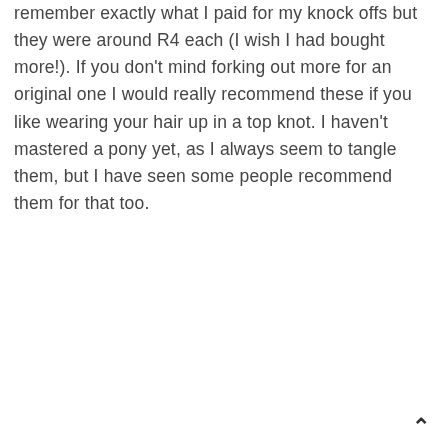remember exactly what I paid for my knock offs but they were around R4 each (I wish I had bought more!). If you don't mind forking out more for an original one I would really recommend these if you like wearing your hair up in a top knot. I haven't mastered a pony yet, as I always seem to tangle them, but I have seen some people recommend them for that too.